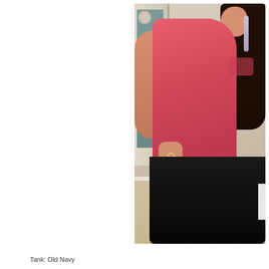[Figure (photo): A woman wearing a coral/pink tank top and black skirt, seen from a side/profile angle in a home bedroom. She has long dark brown hair in a braid, and has one hand on her hip. She is standing in front of a mirror and dresser. The background shows bedroom walls, a door or mirror frame, and a yellow garment hanging. She is wearing a ring.]
Tank: Old Navy